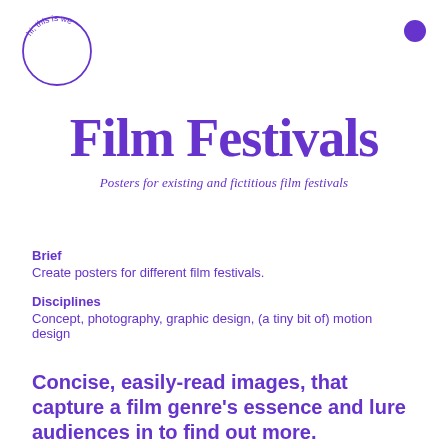[Figure (logo): Circular logo with text 'hi, this is we' arranged in an arc, purple outline circle]
[Figure (other): Solid purple filled circle, top right corner]
Film Festivals
Posters for existing and fictitious film festivals
Brief
Create posters for different film festivals.
Disciplines
Concept, photography, graphic design, (a tiny bit of) motion design
Concise, easily-read images, that capture a film genre's essence and lure audiences in to find out more.